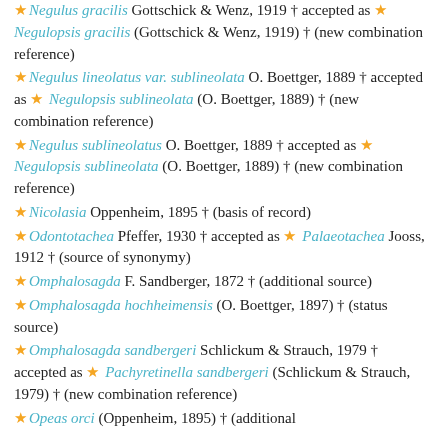★ Negulus gracilis Gottschick & Wenz, 1919 † accepted as ★ Negulopsis gracilis (Gottschick & Wenz, 1919) † (new combination reference)
★ Negulus lineolatus var. sublineolata O. Boettger, 1889 † accepted as ★ Negulopsis sublineolata (O. Boettger, 1889) † (new combination reference)
★ Negulus sublineolatus O. Boettger, 1889 † accepted as ★ Negulopsis sublineolata (O. Boettger, 1889) † (new combination reference)
★ Nicolasia Oppenheim, 1895 † (basis of record)
★ Odontotachea Pfeffer, 1930 † accepted as ★ Palaeotachea Jooss, 1912 † (source of synonymy)
★ Omphalosagda F. Sandberger, 1872 † (additional source)
★ Omphalosagda hochheimensis (O. Boettger, 1897) † (status source)
★ Omphalosagda sandbergeri Schlickum & Strauch, 1979 † accepted as ★ Pachyretinella sandbergeri (Schlickum & Strauch, 1979) † (new combination reference)
★ Opeas orci (Oppenheim, 1895) † (additional